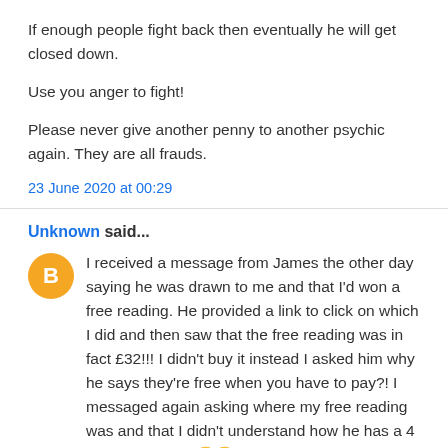If enough people fight back then eventually he will get closed down.
Use you anger to fight!
Please never give another penny to another psychic again. They are all frauds.
23 June 2020 at 00:29
Unknown said...
I received a message from James the other day saying he was drawn to me and that I'd won a free reading. He provided a link to click on which I did and then saw that the free reading was in fact £32!!! I didn't buy it instead I asked him why he says they're free when you have to pay?! I messaged again asking where my free reading was and that I didn't understand how he has a 4 year waiting list 😒😒 but goes live on fb a few times a day asking people to message him to win a reading. He then blocked me on fb so I found him on Instagram, saw